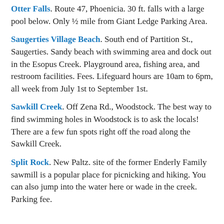Otter Falls. Route 47, Phoenicia. 30 ft. falls with a large pool below. Only ½ mile from Giant Ledge Parking Area.
Saugerties Village Beach. South end of Partition St., Saugerties. Sandy beach with swimming area and dock out in the Esopus Creek. Playground area, fishing area, and restroom facilities. Fees. Lifeguard hours are 10am to 6pm, all week from July 1st to September 1st.
Sawkill Creek. Off Zena Rd., Woodstock. The best way to find swimming holes in Woodstock is to ask the locals! There are a few fun spots right off the road along the Sawkill Creek.
Split Rock. New Paltz. site of the former Enderly Family sawmill is a popular place for picnicking and hiking. You can also jump into the water here or wade in the creek. Parking fee.